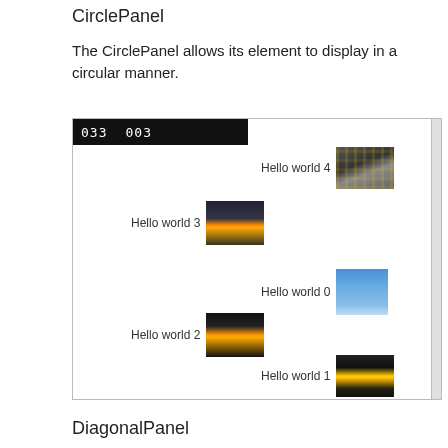CirclePanel
The CirclePanel allows its element to display in a circular manner.
[Figure (screenshot): A UI screenshot showing a CirclePanel with items labeled Hello world 0 through Hello world 4 arranged in a circular/elliptical pattern. Each item has a text label and a small thumbnail image. A toolbar at the top shows '033  003' in white text on black background. A scrollbar is visible on the right side.]
DiagonalPanel